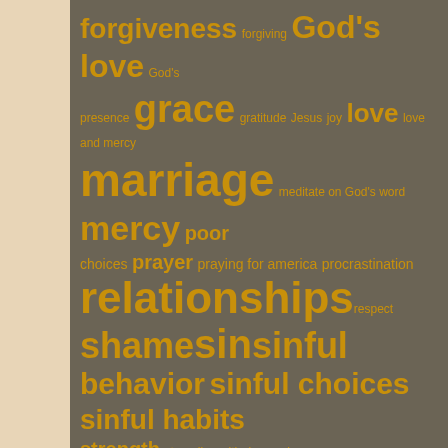[Figure (infographic): Word cloud with religious and personal development terms in gold/amber on dark brown background. Terms vary in size indicating frequency/importance.]
Overcoming!
Additional Resources
Eating and Exercise Goals
Overcoming Addictive Behavior (Including Eating Disorders)
Dealing with Procrastination
Battling Depression and Anxiety
Christian Up! (Maturing in Our Walk)